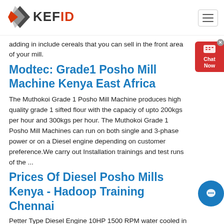[Figure (logo): KEFID logo with red and grey diamond arrow shapes and bold text]
adding in include cereals that you can sell in the front area of your mill.
Modtec: Grade1 Posho Mill Machine Kenya East Africa
The Muthokoi Grade 1 Posho Mill Machine produces high quality grade 1 sifted flour with the capaciy of upto 200kgs per hour and 300kgs per hour. The Muthokoi Grade 1 Posho Mill Machines can run on both single and 3-phase power or on a Diesel engine depending on customer preference.We carry out Installation trainings and test runs of the ...
Prices Of Diesel Posho Mills Kenya - Hadoop Training Chennai
Petter Type Diesel Engine 10HP 1500 RPM water cooled in turkey